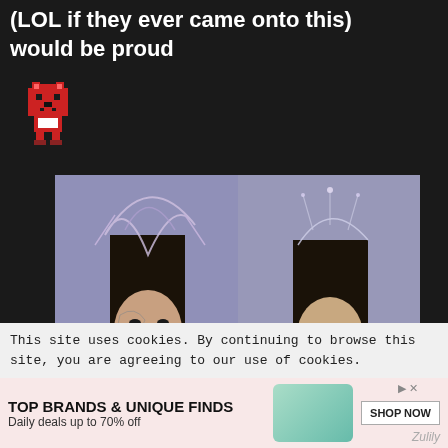(LOL if they ever came onto this) would be proud
[Figure (illustration): Pixel art red cat emoji/mascot]
[Figure (photo): Two K-pop female artists wearing elaborate metallic headpieces and accessories against a purple-grey background]
This site uses cookies. By continuing to browse this site, you are agreeing to our use of cookies.
[Figure (infographic): Advertisement banner: TOP BRANDS & UNIQUE FINDS - Daily deals up to 70% off - SHOP NOW - Zulily]